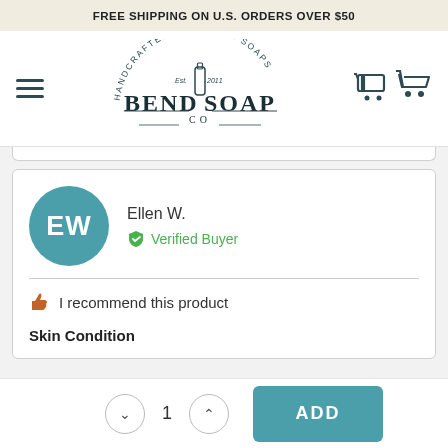FREE SHIPPING ON U.S. ORDERS OVER $50
[Figure (logo): Bend Soap Co. logo — Handcrafted Goat Milk Soaps, Est. 2011, with milk bottle illustration]
Ellen W.
Verified Buyer
I recommend this product
Skin Condition